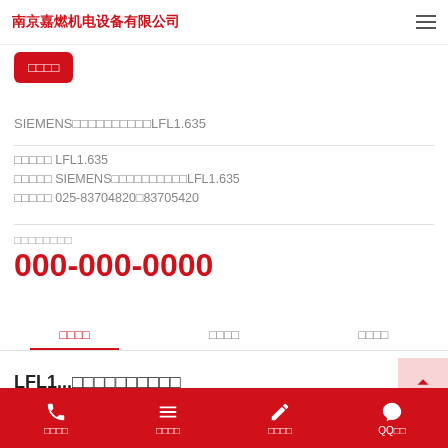南京嘉燃机电设备有限公司
□□□□
SIEMENS□□□□□□□□□□LFL1.635
□□□□□ LFL1.635
□□□□□ SIEMENS□□□□□□□□□□LFL1.635
□□□□□ 025-83704820□83705420
□□□□□□□□
000-000-0000
□□□□	□□□□	□□□□
LFL1...□□□□□□□□□□